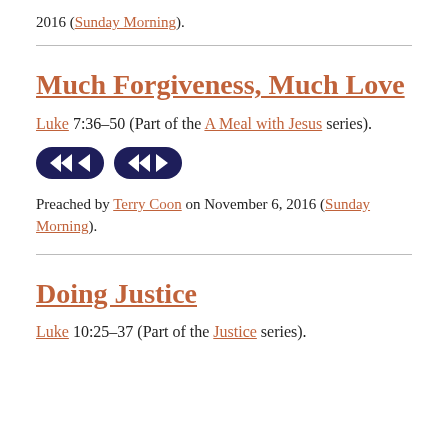2016 (Sunday Morning).
Much Forgiveness, Much Love
Luke 7:36-50 (Part of the A Meal with Jesus series).
[Figure (other): Two audio/media player control buttons with rewind and play icons on dark navy pill-shaped backgrounds.]
Preached by Terry Coon on November 6, 2016 (Sunday Morning).
Doing Justice
Luke 10:25-37 (Part of the Justice series).